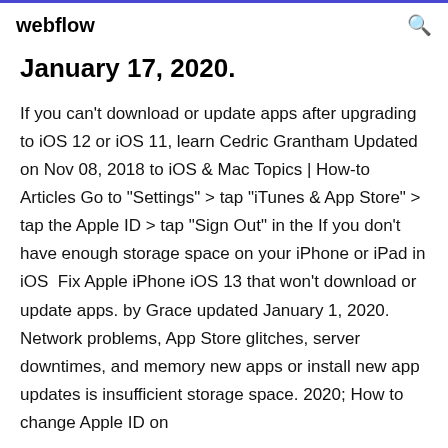webflow
January 17, 2020.
If you can't download or update apps after upgrading to iOS 12 or iOS 11, learn Cedric Grantham Updated on Nov 08, 2018 to iOS & Mac Topics | How-to Articles Go to "Settings" > tap "iTunes & App Store" > tap the Apple ID > tap "Sign Out" in the If you don't have enough storage space on your iPhone or iPad in iOS  Fix Apple iPhone iOS 13 that won't download or update apps. by Grace updated January 1, 2020. Network problems, App Store glitches, server downtimes, and memory new apps or install new app updates is insufficient storage space. 2020; How to change Apple ID on